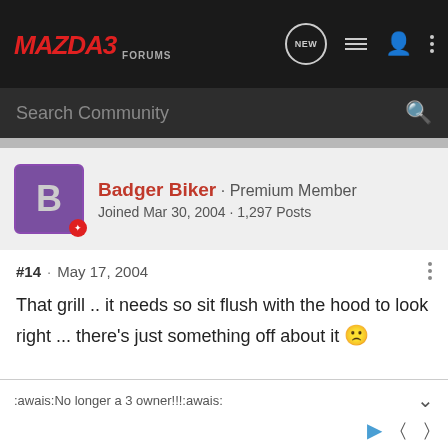MAZDA3 FORUMS — navigation bar with NEW, list, user, and menu icons
Search Community
Badger Biker · Premium Member
Joined Mar 30, 2004 · 1,297 Posts
#14 · May 17, 2004
That grill .. it needs so sit flush with the hood to look right ... there's just something off about it 🙁
:awais:No longer a 3 owner!!!:awais: